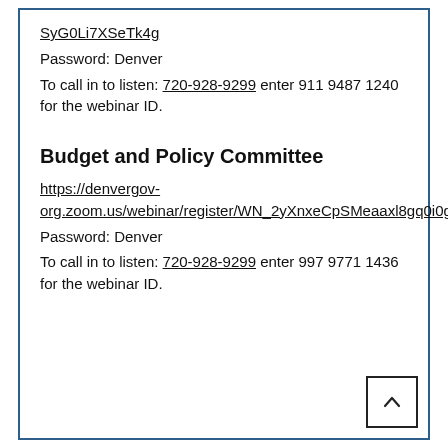SyG0Li7XSeTk4g
Password: Denver
To call in to listen: 720-928-9299 enter 911 9487 1240 for the webinar ID.
Budget and Policy Committee
https://denvergov-org.zoom.us/webinar/register/WN_2yXnxeCpSMeaaxl8gq0i0g
Password: Denver
To call in to listen: 720-928-9299 enter 997 9771 1436 for the webinar ID.